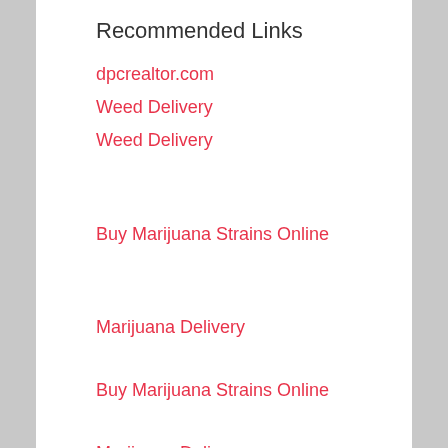Recommended Links
dpcrealtor.com
Weed Delivery
Weed Delivery
Buy Marijuana Strains Online
Marijuana Delivery
Buy Marijuana Strains Online
Marijuana Delivery